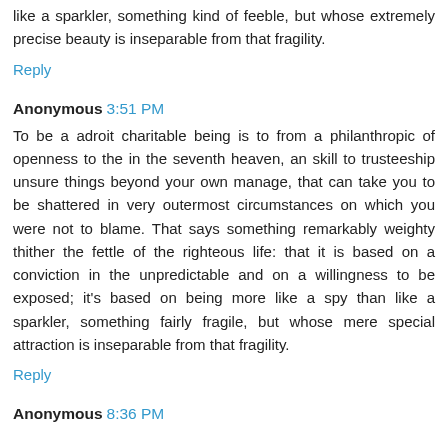like a sparkler, something kind of feeble, but whose extremely precise beauty is inseparable from that fragility.
Reply
Anonymous 3:51 PM
To be a adroit charitable being is to from a philanthropic of openness to the in the seventh heaven, an skill to trusteeship unsure things beyond your own manage, that can take you to be shattered in very outermost circumstances on which you were not to blame. That says something remarkably weighty thither the fettle of the righteous life: that it is based on a conviction in the unpredictable and on a willingness to be exposed; it's based on being more like a spy than like a sparkler, something fairly fragile, but whose mere special attraction is inseparable from that fragility.
Reply
Anonymous 8:36 PM